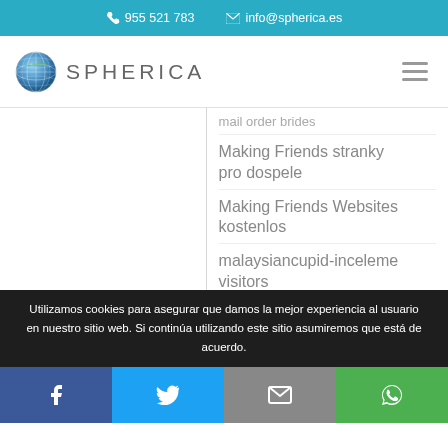955 521 783   info@spherica.es
[Figure (logo): Spherica logo with globe icon and text SPHERICA]
mail order brides
Making Friends stranky pro dospele
Making Friends Websites kostenlos
malaysiancupid-inceleme visitors
manchester escort
Utilizamos cookies para asegurar que damos la mejor experiencia al usuario en nuestro sitio web. Si continúa utilizando este sitio asumiremos que está de acuerdo.
[Figure (infographic): Social media share buttons: Facebook, Twitter, Email, WhatsApp]